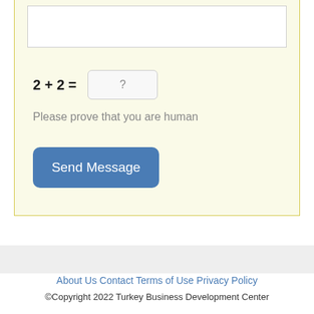[Figure (screenshot): Web contact form section with a textarea at top, a CAPTCHA math question (2 + 2 = ?) with an input box, a 'Please prove that you are human' hint, and a 'Send Message' button. The form has a light yellow background with a yellow border.]
Please prove that you are human
Send Message
About Us Contact Terms of Use Privacy Policy
©Copyright 2022 Turkey Business Development Center